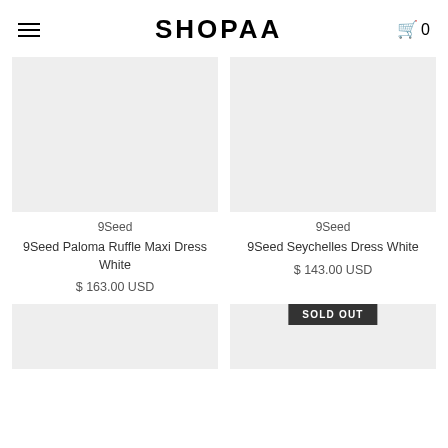SHOPAA
[Figure (photo): Product image placeholder - light gray rectangle for 9Seed Paloma Ruffle Maxi Dress White]
9Seed
9Seed Paloma Ruffle Maxi Dress White
$ 163.00 USD
[Figure (photo): Product image placeholder - light gray rectangle for 9Seed Seychelles Dress White]
9Seed
9Seed Seychelles Dress White
$ 143.00 USD
[Figure (photo): Product image placeholder - light gray rectangle (bottom left)]
[Figure (photo): Product image placeholder with SOLD OUT badge (bottom right)]